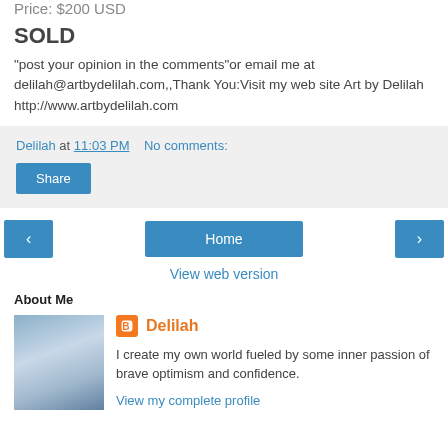Price: $200 USD
SOLD
"post your opinion in the comments"or email me at delilah@artbydelilah.com,,Thank You:Visit my web site Art by Delilah http://www.artbydelilah.com
Delilah at 11:03 PM    No comments:
Share
Home
View web version
About Me
[Figure (photo): Profile photo of Delilah, woman standing near water with a building in background]
Delilah
I create my own world fueled by some inner passion of brave optimism and confidence.
View my complete profile